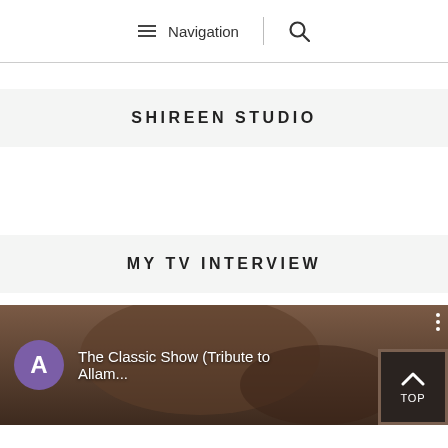Navigation
SHIREEN STUDIO
MY TV INTERVIEW
[Figure (screenshot): Video thumbnail showing a TV interview. A purple circle avatar with letter A is visible on the left, with white text reading 'The Classic Show (Tribute to Allam...' A dark overlay 'TOP' button with an upward chevron is in the bottom right corner.]